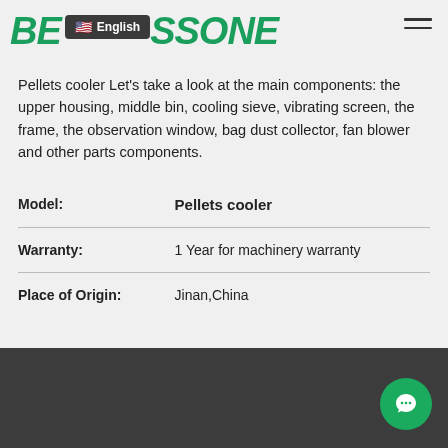BESSONE | English
Pellets cooler Let's take a look at the main components: the upper housing, middle bin, cooling sieve, vibrating screen, the frame, the observation window, bag dust collector, fan blower and other parts components.
| Model: | Pellets cooler |
| Warranty: | 1 Year for machinery warranty |
| Place of Origin: | Jinan,China |